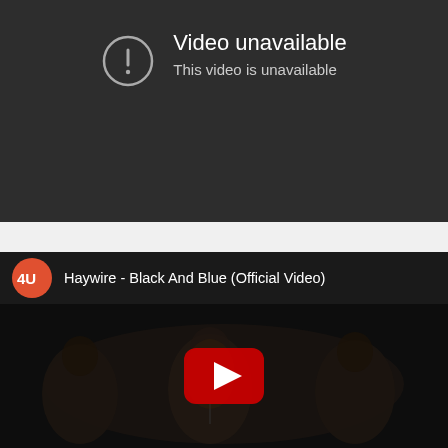[Figure (screenshot): YouTube video unavailable error screen showing a circle with exclamation mark icon and text 'Video unavailable / This video is unavailable' on a dark gray background]
[Figure (screenshot): YouTube video thumbnail for 'Haywire - Black And Blue (Official Video)' showing a band performing on stage in dark lighting, with a red YouTube play button overlay and a red circular channel logo with '4U' text]